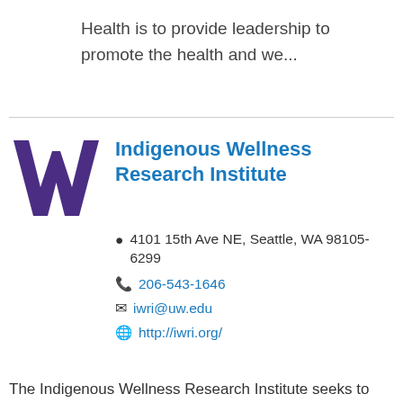Health is to provide leadership to promote the health and we...
[Figure (logo): University of Washington purple W logo]
Indigenous Wellness Research Institute
4101 15th Ave NE, Seattle, WA 98105-6299
206-543-1646
iwri@uw.edu
http://iwri.org/
The Indigenous Wellness Research Institute seeks to marshal community, tribal, academic, and gove...